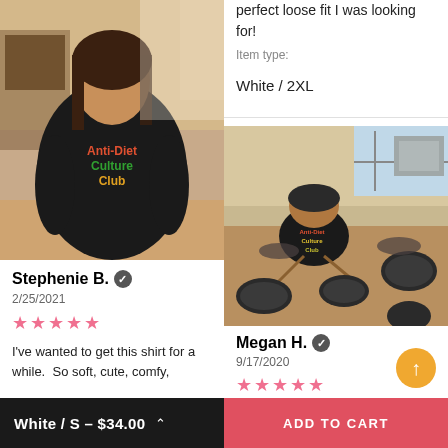[Figure (photo): Person wearing black Anti-Diet Culture Club t-shirt standing indoors]
Stephenie B. ✓
2/25/2021
★★★★★
I've wanted to get this shirt for a while.  So soft, cute, comfy,
perfect loose fit I was looking for!
Item type:
White / 2XL
[Figure (photo): Person wearing black Anti-Diet Culture Club t-shirt playing electronic drum kit, viewed from above]
Megan H. ✓
9/17/2020
★★★★★
White / S – $34.00
ADD TO CART